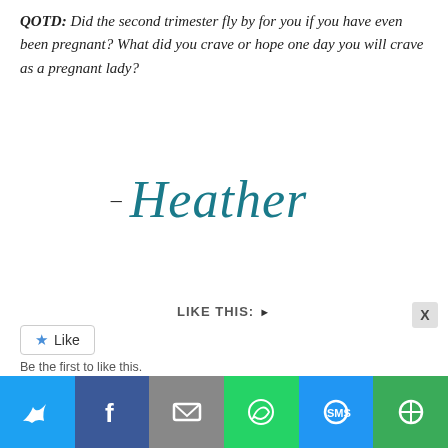QOTD: Did the second trimester fly by for you if you have even been pregnant? What did you crave or hope one day you will crave as a pregnant lady?
- Heather
LIKE THIS: ▶
[Figure (other): WordPress-style Like button with star icon]
Be the first to like this.
[Figure (infographic): Sharing is caring! label with red arrow and social share icons: Facebook, Twitter, Pinterest, LinkedIn, Email, More]
[Figure (infographic): Bottom share bar with Twitter, Facebook, Email, WhatsApp, SMS, More icons]